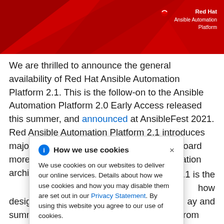[Figure (illustration): Red Hat Ansible Automation Platform header banner with red background, abstract triangular shapes, and Red Hat Ansible Automation Platform logo in the top right corner.]
We are thrilled to announce the general availability of Red Hat Ansible Automation Platform 2.1. This is the follow-on to the Ansible Automation Platform 2.0 Early Access released this summer, and announced at AnsibleFest 2021. Red Ansible Automation Platform 2.1 introduces major features that allow customers to onboard more easily with even more flexible automation architectures and [partially obscured] 2.1 is the [partially obscured] how [partially obscured] ay and [partially obscured] ctly from [partially obscured] for a free [partially obscured] ation [partially obscured] e,
[Figure (screenshot): Cookie consent modal dialog with title 'How we use cookies', an info icon, close X button, body text about cookie usage and Privacy Statement link.]
designed for the enterprise. I am going to summarize Andrius Benokraitis' blog post from